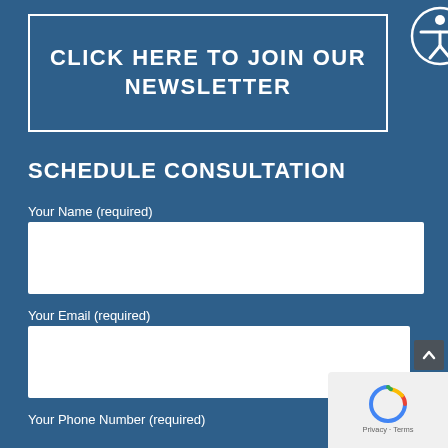[Figure (other): Newsletter sign-up banner with white border and accessibility icon]
SCHEDULE CONSULTATION
Your Name (required)
[Figure (other): Empty text input field for name]
Your Email (required)
[Figure (other): Empty text input field for email]
Your Phone Number (required)
[Figure (other): Empty text input field for phone number]
Type of Matter: (required)